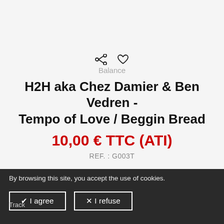[Figure (infographic): Share icon (less-than style share) and heart/wishlist icon side by side]
Balance
H2H aka Chez Damier & Ben Vedren - Tempo of Love / Beggin Bread
10,00 € TTC (ATI)
REF. : G003T
By browsing this site, you accept the use of cookies.
Track
✔ I agree
✖ I refuse